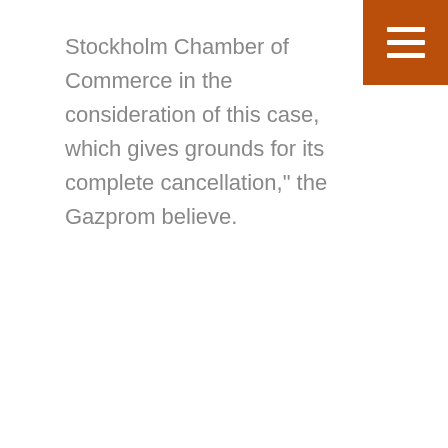Stockholm Chamber of Commerce in the consideration of this case, which gives grounds for its complete cancellation," the Gazprom believe.
[Figure (other): Orange square menu button with three horizontal white lines (hamburger menu icon) in the top-right corner]